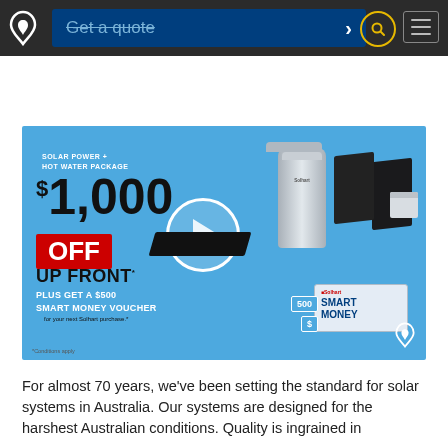Solhart - Get a quote
[Figure (infographic): Promotional banner for Solhart Solar Power + Hot Water Package. $1,000 OFF UP FRONT* PLUS GET A $500 SMART MONEY VOUCHER for your next Solhart purchase.* Shows solar hot water tank, solar panels, inverter, and Smart Money voucher. Play button overlay for video. *Conditions apply.]
For almost 70 years, we've been setting the standard for solar systems in Australia. Our systems are designed for the harshest Australian conditions. Quality is ingrained in